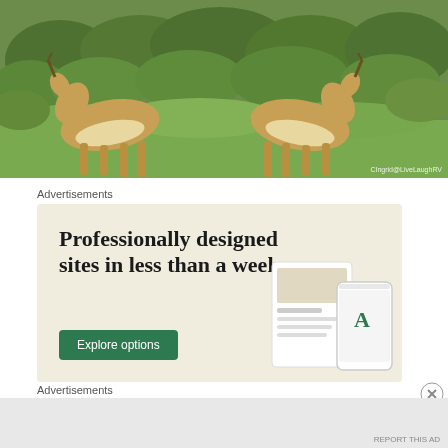[Figure (photo): Two pronghorn antelope with locked horns sparring in a grassy field with sagebrush. Photo credit: CIngrid@LiveLaughRV]
Advertisements
[Figure (illustration): Advertisement with cream/beige background. Headline reads 'Professionally designed sites in less than a week'. Green 'Explore options' button. Mock website and app device images on the right side.]
Advertisements